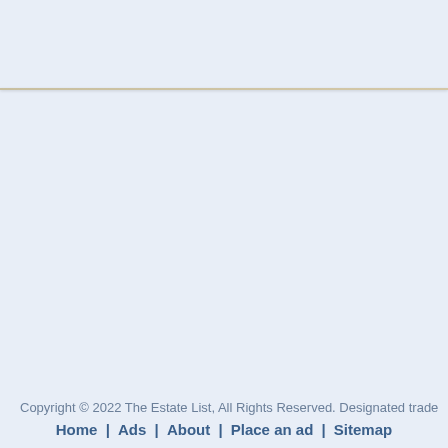Copyright © 2022 The Estate List, All Rights Reserved. Designated trade
Home | Ads | About | Place an ad | Sitemap